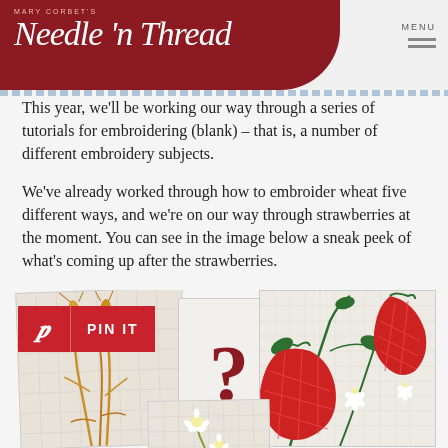Mary Corbet's Needle 'n Thread
This year, we’ll be working our way through a series of tutorials for embroidering (blank) – that is, a number of different embroidery subjects.
We’ve already worked through how to embroider wheat five different ways, and we’re on our way through strawberries at the moment. You can see in the image below a sneak peek of what’s coming up after the strawberries.
[Figure (photo): Three embroidery samples: embroidered wheat on linen fabric (left), a dark red question mark on white fabric (center), embroidered strawberries with green vines and white flowers on linen (right). A Pinterest 'PIN IT' button overlay is visible in the top-left corner.]